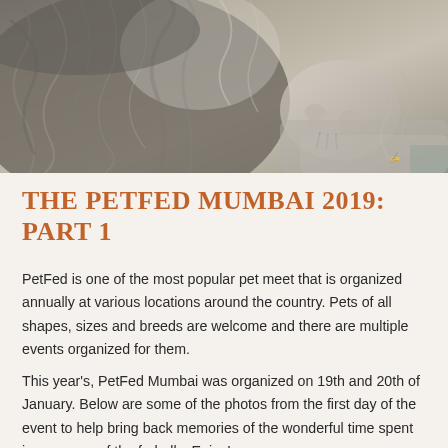[Figure (photo): Close-up photo of a fluffy grey/white cat or dog lying on a soft textured surface, showing fur detail and paws]
THE PETFED MUMBAI 2019: PART 1
PetFed is one of the most popular pet meet that is organized annually at various locations around the country. Pets of all shapes, sizes and breeds are welcome and there are multiple events organized for them.
This year's, PetFed Mumbai was organized on 19th and 20th of January. Below are some of the photos from the first day of the event to help bring back memories of the wonderful time spent in company of the furballs. Enjoy!